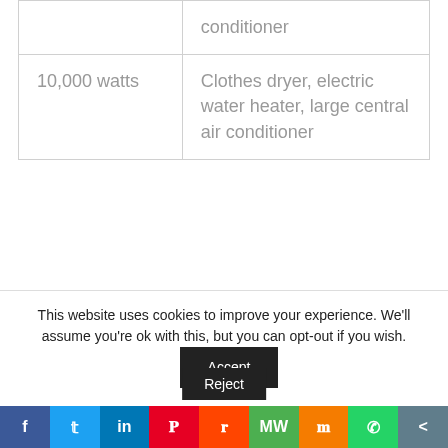| Wattage | Appliances |
| --- | --- |
|  | conditioner |
| 10,000 watts | Clothes dryer, electric water heater, large central air conditioner |
Conclusion
What is a generator used for?
This website uses cookies to improve your experience. We'll assume you're ok with this, but you can opt-out if you wish.
Accept
Reject